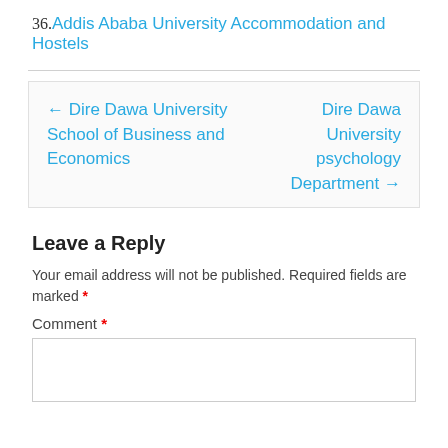36. Addis Ababa University Accommodation and Hostels
← Dire Dawa University School of Business and Economics   Dire Dawa University psychology Department →
Leave a Reply
Your email address will not be published. Required fields are marked *
Comment *